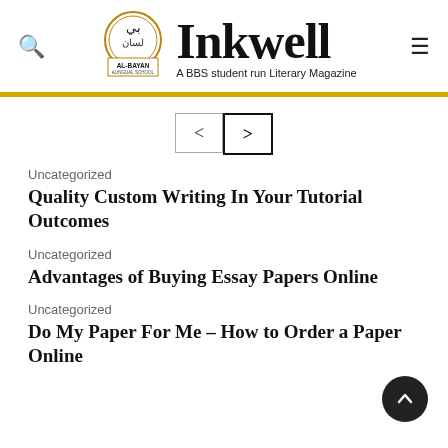[Figure (logo): Al-Bayan Bilingual School logo with circular Arabic calligraphy emblem and 'Inkwell – A BBS student run Literary Magazine' text]
[Figure (other): Navigation left and right arrow buttons]
Uncategorized
Quality Custom Writing In Your Tutorial Outcomes
Uncategorized
Advantages of Buying Essay Papers Online
Uncategorized
Do My Paper For Me – How to Order a Paper Online